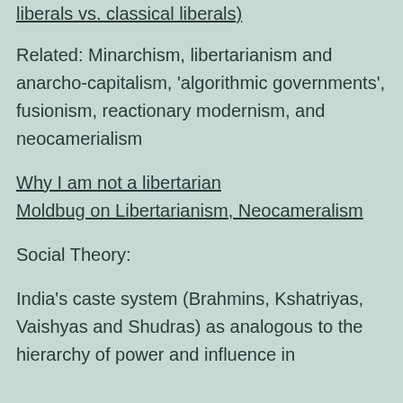liberals vs. classical liberals)
Related: Minarchism, libertarianism and anarcho-capitalism, 'algorithmic governments', fusionism, reactionary modernism, and neocamerialism
Why I am not a libertarian
Moldbug on Libertarianism, Neocameralism
Social Theory:
India's caste system (Brahmins, Kshatriyas, Vaishyas and Shudras) as analogous to the hierarchy of power and influence in